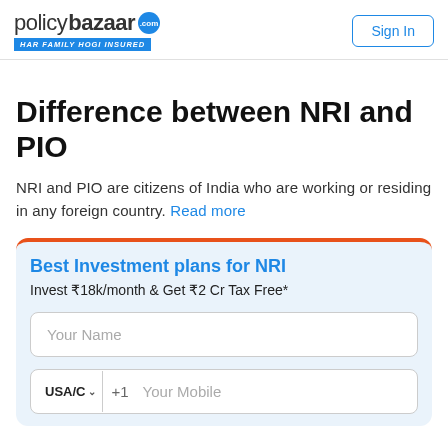policybazaar.com — HAR FAMILY HOGI INSURED | Sign In
Difference between NRI and PIO
NRI and PIO are citizens of India who are working or residing in any foreign country. Read more
Best Investment plans for NRI
Invest ₹18k/month & Get ₹2 Cr Tax Free*
Your Name
USA/C… +1  Your Mobile